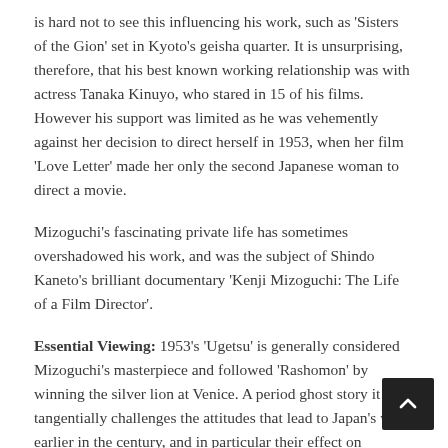is hard not to see this influencing his work, such as 'Sisters of the Gion' set in Kyoto's geisha quarter. It is unsurprising, therefore, that his best known working relationship was with actress Tanaka Kinuyo, who stared in 15 of his films. However his support was limited as he was vehemently against her decision to direct herself in 1953, when her film 'Love Letter' made her only the second Japanese woman to direct a movie.
Mizoguchi's fascinating private life has sometimes overshadowed his work, and was the subject of Shindo Kaneto's brilliant documentary 'Kenji Mizoguchi: The Life of a Film Director'.
Essential Viewing: 1953's 'Ugetsu' is generally considered Mizoguchi's masterpiece and followed 'Rashomon' by winning the silver lion at Venice. A period ghost story it tangentially challenges the attitudes that lead to Japan's wars earlier in the century, and in particular their effect on women. The cinematography is truly breathtaking.